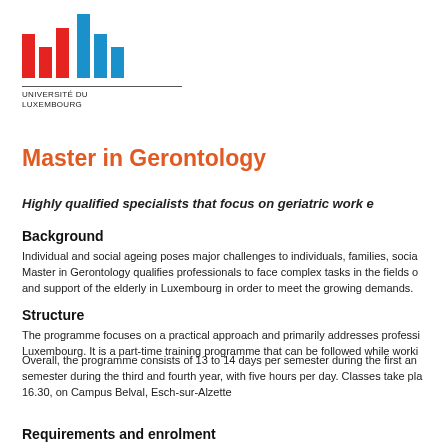[Figure (logo): Université du Luxembourg logo with red and blue bar chart style graphic and text 'UNIVERSITÉ DU LUXEMBOURG']
Master in Gerontology
Highly qualified specialists that focus on geriatric work e...
Background
Individual and social ageing poses major challenges to individuals, families, socia... Master in Gerontology qualifies professionals to face complex tasks in the fields o... and support of the elderly in Luxembourg in order to meet the growing demands.
Structure
The programme focuses on a practical approach and primarily addresses professi... Luxembourg. It is a part-time training programme that can be followed while worki...
Overall, the programme consists of 13 to 14 days per semester during the first an... semester during the third and fourth year, with five hours per day. Classes take pla... 16.30, on Campus Belval, Esch-sur-Alzette
Requirements and enrolment